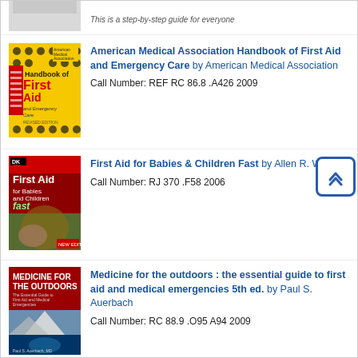[Figure (illustration): Partial book cover at top of page, cropped]
This is a step-by-step guide for everyone
[Figure (illustration): American Medical Association Handbook of First Aid and Emergency Care book cover - yellow with polka dots and red text]
American Medical Association Handbook of First Aid and Emergency Care by American Medical Association
Call Number: REF RC 86.8 .A426 2009
[Figure (illustration): First Aid for Babies and Children Fast book cover - red and green with photo of adult helping child]
First Aid for Babies & Children Fast by Allen R. Walker
Call Number: RJ 370 .F58 2006
[Figure (illustration): Medicine for the Outdoors book cover - red with mountain and underwater photos]
Medicine for the outdoors : the essential guide to first aid and medical emergencies 5th ed. by Paul S. Auerbach
Call Number: RC 88.9 .O95 A94 2009